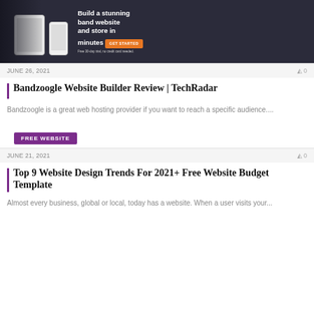[Figure (screenshot): Hero image showing Bandzoogle website builder promotional screenshot with device mockups (tablet and phone) and text 'Build a stunning band website and store in minutes' with an orange CTA button, on a dark background.]
JUNE 26, 2021
0
Bandzoogle Website Builder Review | TechRadar
Bandzoogle is a great web hosting provider if you want to reach a specific audience....
FREE WEBSITE
JUNE 21, 2021
0
Top 9 Website Design Trends For 2021+ Free Website Budget Template
Almost every business, global or local, today has a website. When a user visits your...